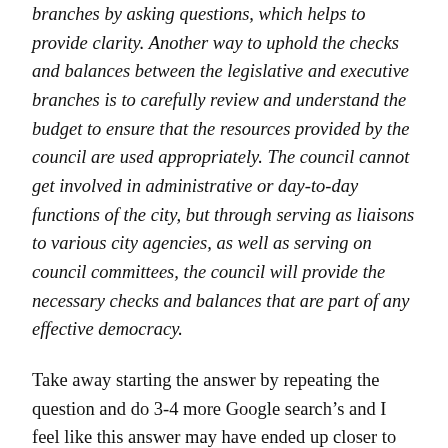branches by asking questions, which helps to provide clarity. Another way to uphold the checks and balances between the legislative and executive branches is to carefully review and understand the budget to ensure that the resources provided by the council are used appropriately. The council cannot get involved in administrative or day-to-day functions of the city, but through serving as liaisons to various city agencies, as well as serving on council committees, the council will provide the necessary checks and balances that are part of any effective democracy.
Take away starting the answer by repeating the question and do 3-4 more Google search’s and I feel like this answer may have ended up closer to the “Correct” column, however “questions and clarity” and being a “liaison” are not checks and balances. They may be part of